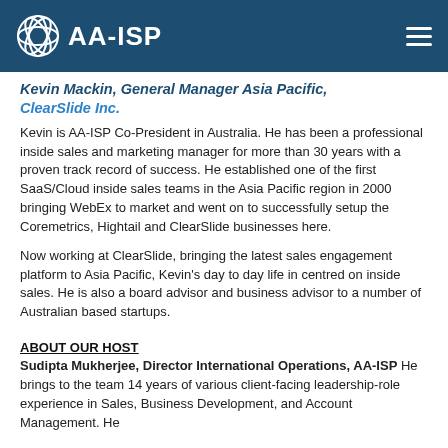AA-ISP
Kevin Mackin, General Manager Asia Pacific, ClearSlide Inc.
Kevin is AA-ISP Co-President in Australia. He has been a professional inside sales and marketing manager for more than 30 years with a proven track record of success. He established one of the first SaaS/Cloud inside sales teams in the Asia Pacific region in 2000 bringing WebEx to market and went on to successfully setup the Coremetrics, Hightail and ClearSlide businesses here.
Now working at ClearSlide, bringing the latest sales engagement platform to Asia Pacific, Kevin's day to day life in centred on inside sales. He is also a board advisor and business advisor to a number of Australian based startups.
ABOUT OUR HOST
Sudipta Mukherjee, Director International Operations, AA-ISP He brings to the team 14 years of various client-facing leadership-role experience in Sales, Business Development, and Account Management. He